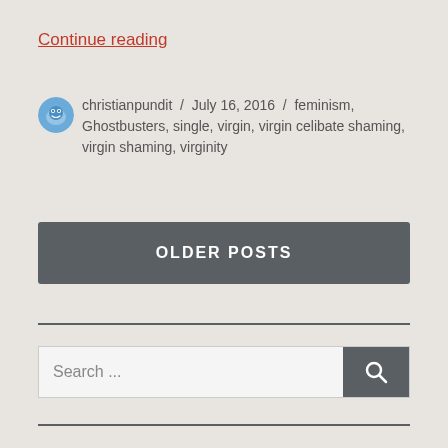Continue reading
christianpundit / July 16, 2016 / feminism, Ghostbusters, single, virgin, virgin celibate shaming, virgin shaming, virginity
OLDER POSTS
[Figure (other): Horizontal divider line]
Search ...
[Figure (other): Horizontal divider line at bottom]